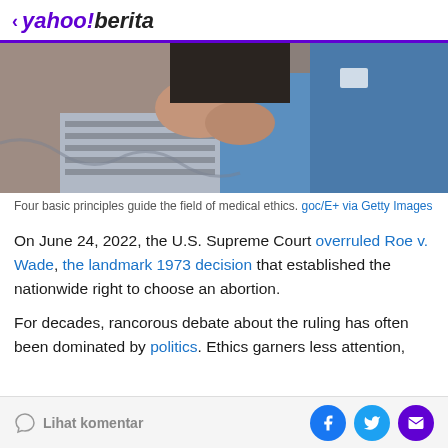< yahoo!berita
[Figure (photo): Close-up photo of two people sitting together, one wearing blue scrubs, with a blanket between them — depicting a medical or caregiving context.]
Four basic principles guide the field of medical ethics. goc/E+ via Getty Images
On June 24, 2022, the U.S. Supreme Court overruled Roe v. Wade, the landmark 1973 decision that established the nationwide right to choose an abortion.
For decades, rancorous debate about the ruling has often been dominated by politics. Ethics garners less attention,
Lihat komentar